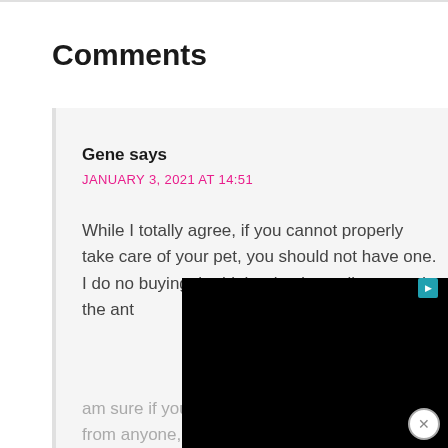Comments
Gene says
JANUARY 3, 2021 AT 14:51
While I totally agree, if you cannot properly take care of your pet, you should not have one. I do not buying the high priced contributes and the ant am sure if you bought a healthy Puppy from anyone, it could be taken to the Vet
[Figure (screenshot): Black advertisement overlay covering part of the comment text]
am sure if you bought a healthy Puppy from anyone, it could be taken to the Vet